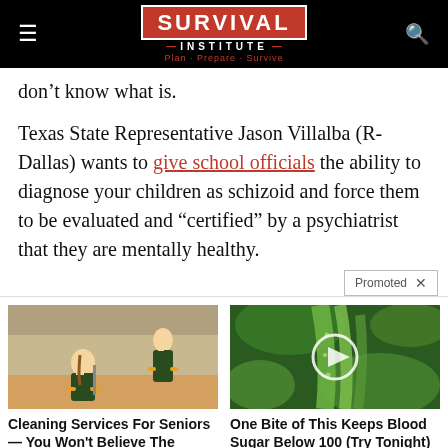SURVIVAL INSTITUTE — Plan · Prepare · Survive
don't know what is.
Texas State Representative Jason Villalba (R-Dallas) wants to give school officials the ability to diagnose your children as schizoid and force them to be evaluated and "certified" by a psychiatrist that they are mentally healthy.
[Figure (screenshot): Promoted ad widget with two ad cards: left shows cleaning service ad with image of women cleaning (6,197 engagements), right shows health ad with green vegetable image and play button (10,442 engagements).]
Cleaning Services For Seniors — You Won't Believe The Prices 🔥 6,197
One Bite of This Keeps Blood Sugar Below 100 (Try Tonight) 🔥 10,442